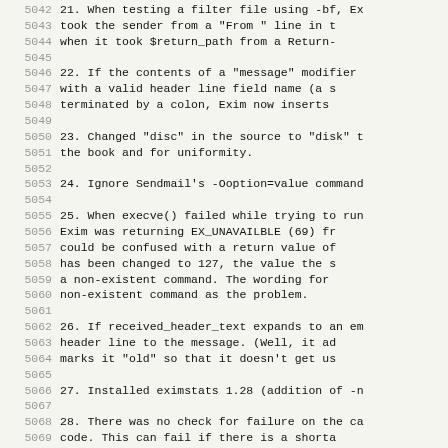5042 21. When testing a filter file using -bf, Ex took the sender from a "From " line in t when it took $return_path from a Return-
5046 22. If the contents of a "message" modifier with a valid header line field name (a s terminated by a colon, Exim now inserts
5050 23. Changed "disc" in the source to "disk" t the book and for uniformity.
5053 24. Ignore Sendmail's -Ooption=value command
5055 25. When execve() failed while trying to run Exim was returning EX_UNAVAILBLE (69) fr could be confused with a return value of has been changed to 127, the value the s a non-existent command. The wording for non-existent command as the problem.
5062 26. If received_header_text expands to an em header line to the message. (Well, it ad marks it "old" so that it doesn't get us
5066 27. Installed eximstats 1.28 (addition of -n
5068 28. There was no check for failure on the ca code. This can fail if there is a shorta ENOMEM, for example. A temporary error i
5072 29. Contrary to the C standard, it seems tha equivalent of setlocale(LC_ALL, "C") is program. Exim now does this explicitly